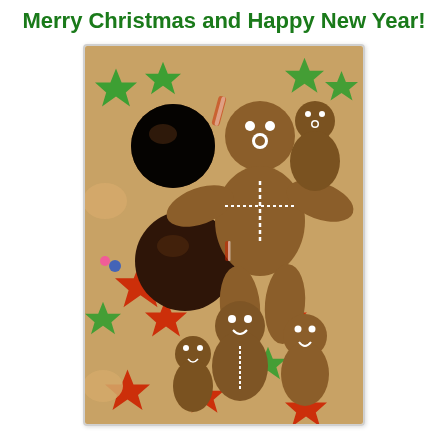Merry Christmas and Happy New Year!
[Figure (photo): A close-up photograph of assorted Christmas cookies including gingerbread men decorated with white icing, chocolate-covered round candies, and colorful star-shaped sugar cookies in red and green with icing.]